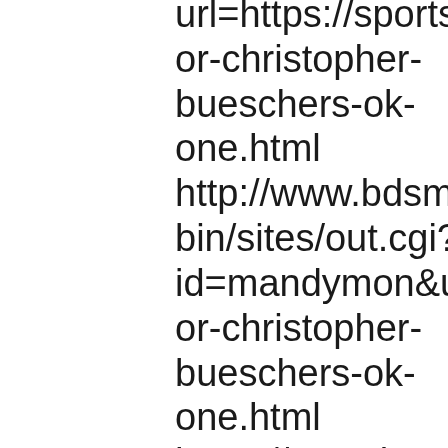url=https://sportsbettin or-christopher-bueschers-ok-one.html http://www.bdsmandfe bin/sites/out.cgi? id=mandymon&url=htt or-christopher-bueschers-ok-one.html https://www.bettnet.co URL=https://sportsbett